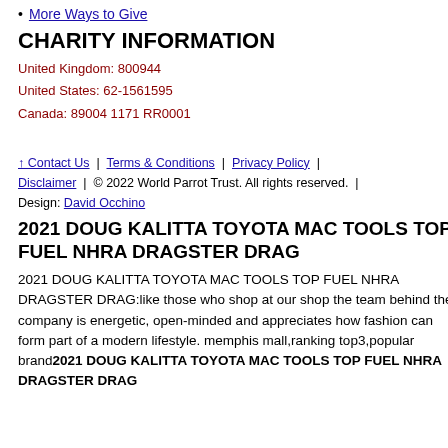More Ways to Give
CHARITY INFORMATION
United Kingdom: 800944
United States: 62-1561595
Canada: 89004 1171 RR0001
↑ Contact Us | Terms & Conditions | Privacy Policy | Disclaimer | © 2022 World Parrot Trust. All rights reserved. | Design: David Occhino
2021 DOUG KALITTA TOYOTA MAC TOOLS TOP FUEL NHRA DRAGSTER DRAG
2021 DOUG KALITTA TOYOTA MAC TOOLS TOP FUEL NHRA DRAGSTER DRAG:like those who shop at our shop the team behind the company is energetic, open-minded and appreciates how fashion can form part of a modern lifestyle. memphis mall,ranking top3,popular brand2021 DOUG KALITTA TOYOTA MAC TOOLS TOP FUEL NHRA DRAGSTER DRAG